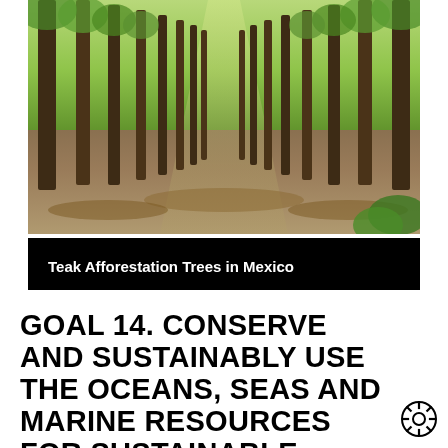[Figure (photo): Rows of teak afforestation trees in a plantation in Mexico, showing straight tall trunks receding into the distance on a leaf-covered forest floor.]
Teak Afforestation Trees in Mexico
GOAL 14. CONSERVE AND SUSTAINABLY USE THE OCEANS, SEAS AND MARINE RESOURCES FOR SUSTAINABLE DEVELOPMENT